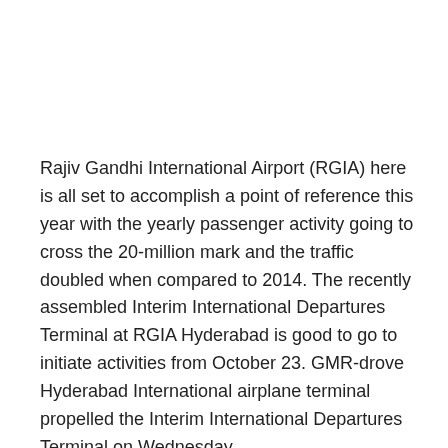Rajiv Gandhi International Airport (RGIA) here is all set to accomplish a point of reference this year with the yearly passenger activity going to cross the 20-million mark and the traffic doubled when compared to 2014. The recently assembled Interim International Departures Terminal at RGIA Hyderabad is good to go to initiate activities from October 23. GMR-drove Hyderabad International airplane terminal propelled the Interim International Departures Terminal on Wednesday.